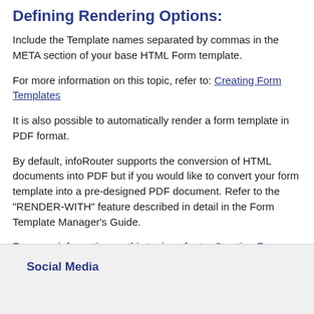Defining Rendering Options:
Include the Template names separated by commas in the META section of your base HTML Form template.
For more information on this topic, refer to: Creating Form Templates
It is also possible to automatically render a form template in PDF format.
By default, infoRouter supports the conversion of HTML documents into PDF but if you would like to convert your form template into a pre-designed PDF document. Refer to the "RENDER-WITH" feature described in detail in the Form Template Manager's Guide.
For more information on this topic, refer to: Creating Form Templates
Social Media